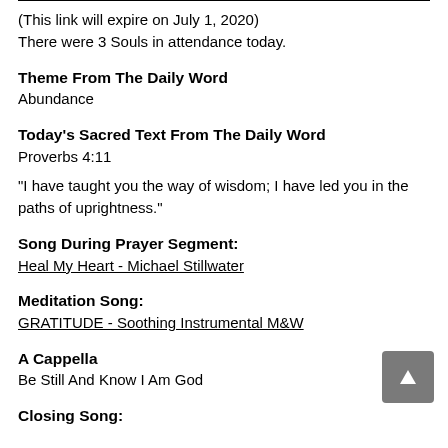(This link will expire on July 1, 2020)
There were 3 Souls in attendance today.
Theme From The Daily Word
Abundance
Today's Sacred Text From The Daily Word
Proverbs 4:11
"I have taught you the way of wisdom; I have led you in the paths of uprightness."
Song During Prayer Segment:
Heal My Heart - Michael Stillwater
Meditation Song:
GRATITUDE - Soothing Instrumental M&W
A Cappella
Be Still And Know I Am God
Closing Song: